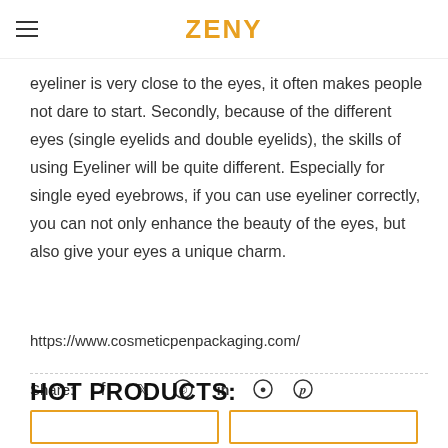ZENY
eyeliner is very close to the eyes, it often makes people not dare to start. Secondly, because of the different eyes (single eyelids and double eyelids), the skills of using Eyeliner will be quite different. Especially for single eyed eyebrows, if you can use eyeliner correctly, you can not only enhance the beauty of the eyes, but also give your eyes a unique charm.
https://www.cosmeticpenpackaging.com/
Share:
HOT PRODUCTS: